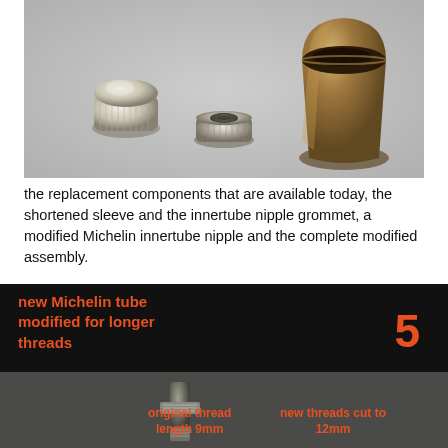[Figure (photo): Three metal components laid on a light surface: a knurled cylindrical cap with domed top (left), a flat knurled ring/nut (centre), and a large bronze/brass bullet-shaped sleeve with hollow top (right).]
the replacement components that are available today, the shortened sleeve and the innertube nipple grommet, a modified Michelin innertube nipple and the complete modified assembly.
[Figure (photo): Dark background banner with orange-red bold text reading 'new Michelin tube modified for longer threads' and large number '5' on the right. Below is a dark photographic image showing a metal nipple component with annotation labels: 'original thread length 9mm' and 'new threads cut to 12mm'.]